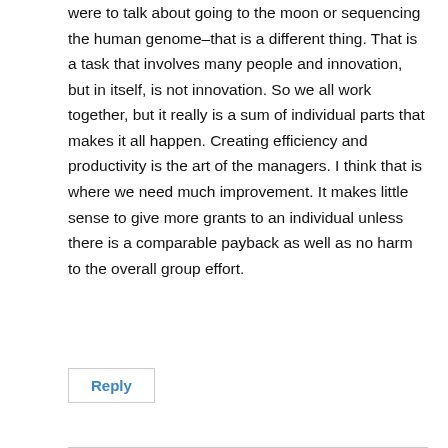were to talk about going to the moon or sequencing the human genome–that is a different thing. That is a task that involves many people and innovation, but in itself, is not innovation. So we all work together, but it really is a sum of individual parts that makes it all happen. Creating efficiency and productivity is the art of the managers. I think that is where we need much improvement. It makes little sense to give more grants to an individual unless there is a comparable payback as well as no harm to the overall group effort.
Reply